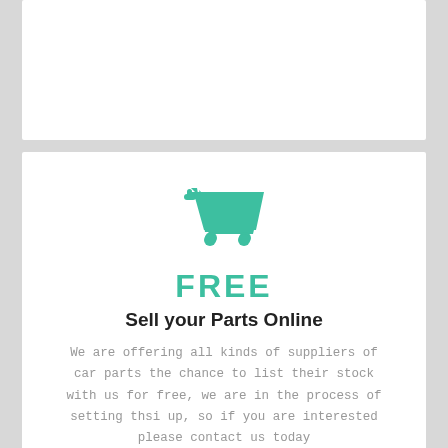[Figure (illustration): Shopping cart icon in teal/green color]
FREE
Sell your Parts Online
We are offering all kinds of suppliers of car parts the chance to list their stock with us for free, we are in the process of setting thsi up, so if you are interested please contact us today
[Figure (illustration): Bell notification icon in teal/green color]
FREE